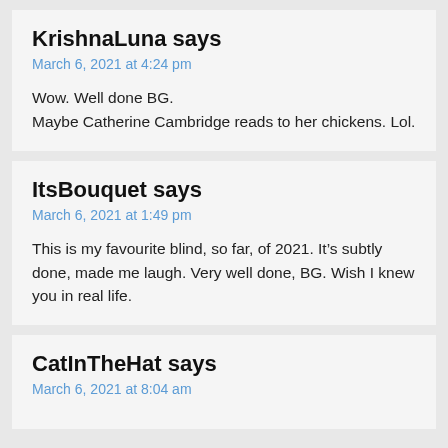KrishnaLuna says
March 6, 2021 at 4:24 pm
Wow. Well done BG.
Maybe Catherine Cambridge reads to her chickens. Lol.
ItsBouquet says
March 6, 2021 at 1:49 pm
This is my favourite blind, so far, of 2021. It’s subtly done, made me laugh. Very well done, BG. Wish I knew you in real life.
CatInTheHat says
March 6, 2021 at 8:04 am